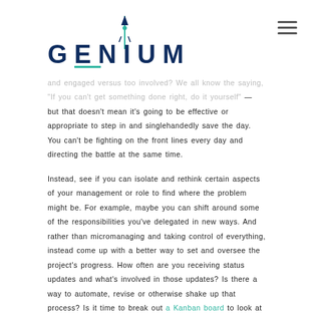[Figure (logo): GENIUM logo with rocket icon and teal underline accent beneath EN letters]
and engaged versus too involved? We all know the saying, "If you can't get something done right, do it yourself" — but that doesn't mean it's going to be effective or appropriate to step in and singlehandedly save the day. You can't be fighting on the front lines every day and directing the battle at the same time.
Instead, see if you can isolate and rethink certain aspects of your management or role to find where the problem might be. For example, maybe you can shift around some of the responsibilities you've delegated in new ways. And rather than micromanaging and taking control of everything, instead come up with a better way to set and oversee the project's progress. How often are you receiving status updates and what's involved in those updates? Is there a way to automate, revise or otherwise shake up that process? Is it time to break out a Kanban board to look at the project's status in a new